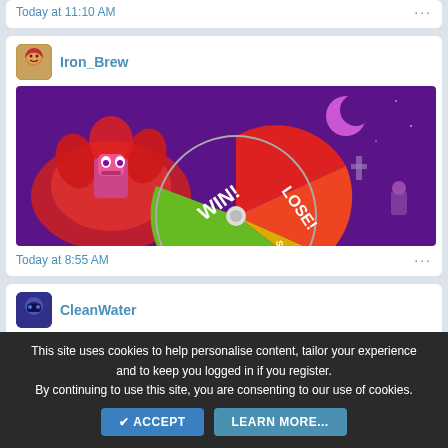Today at 11:10 AM
Iron_Brew
[Figure (screenshot): Game screenshot showing a spin wheel with WIN and LOSE sections, a pixel character on the left, and a graveyard scene with moon on the right, purple and red color theme]
Today at 8:55 AM
CleanWater
Not today... Not today...
Today at 4:52 AM
This site uses cookies to help personalise content, tailor your experience and to keep you logged in if you register.
By continuing to use this site, you are consenting to our use of cookies.